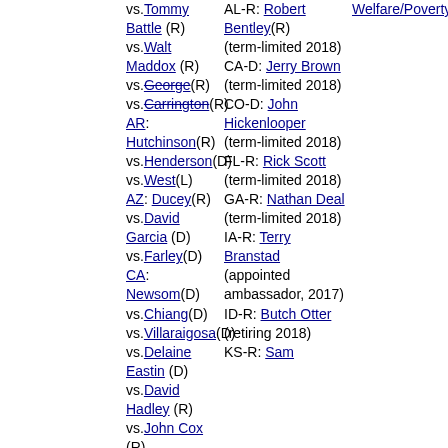vs. Tommy Battle (R)
vs. Walt Maddox (R)
vs. George (R) [strikethrough]
vs. Carrington (R) [strikethrough]
AR: Hutchinson (R)
vs. Henderson (D)
vs. West (L)
AZ: Ducey (R)
vs. David Garcia (D)
vs. Farley (D)
CA: Newsom (D)
vs. Chiang (D)
vs. Villaraigosa (D)
vs. Delaine Eastin (D)
vs. David Hadley (R)
vs. John Cox (R)
vs. Zoltan Istvan (I)
vs. Allen (R) vs. La Riva (P)
CO: Johnston (D)
vs. Mitchell (R) vs. Cary Kennedy (D) vs. Doug Robinson (R)
vs. Barlock (R)
vs. Lynne (R)
vs. Polis (D)
vs. Coffman (R)
vs. George Brauchler (R, A.G.) [strikethrough]
vs. Stapleton (R)
AL-R: Robert Bentley (R) (term-limited 2018)
CA-D: Jerry Brown (term-limited 2018)
CO-D: John Hickenlooper (term-limited 2018)
FL-R: Rick Scott (term-limited 2018)
GA-R: Nathan Deal (term-limited 2018)
IA-R: Terry Branstad (appointed ambassador, 2017)
ID-R: Butch Otter (retiring 2018)
KS-R: Sam
Welfare/Poverty